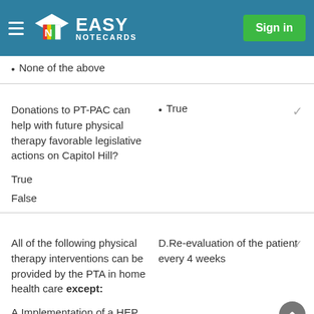Easy Notecards — Sign in
None of the above
Donations to PT-PAC can help with future physical therapy favorable legislative actions on Capitol Hill?
True
True
False
All of the following physical therapy interventions can be provided by the PTA in home health care except:
D.Re-evaluation of the patient every 4 weeks
A.Implementation of a HEP